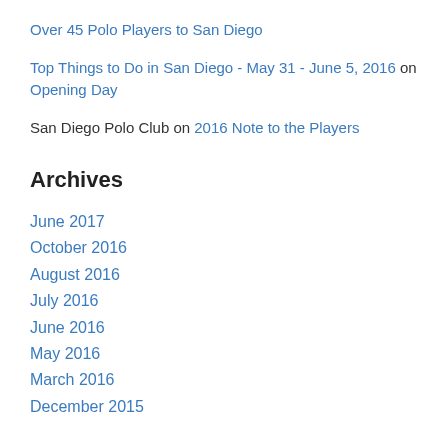Over 45 Polo Players to San Diego
Top Things to Do in San Diego - May 31 - June 5, 2016 on Opening Day
San Diego Polo Club on 2016 Note to the Players
Archives
June 2017
October 2016
August 2016
July 2016
June 2016
May 2016
March 2016
December 2015